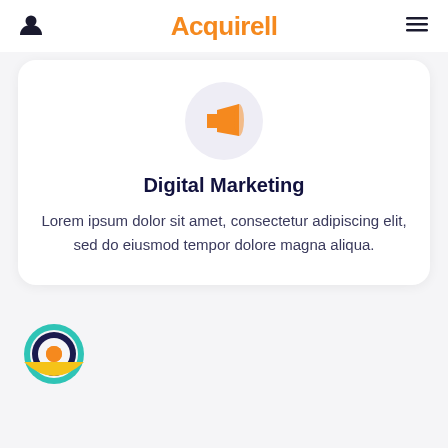Acquirell
[Figure (illustration): Orange megaphone icon inside a light purple circle]
Digital Marketing
Lorem ipsum dolor sit amet, consectetur adipiscing elit, sed do eiusmod tempor dolore magna aliqua.
[Figure (illustration): Colorful eye/target icon with teal outer ring, dark blue middle ring, and orange center, with yellow bottom half forming a smile shape]